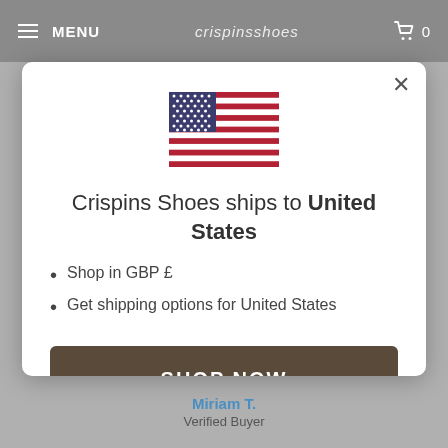MENU  crispinsshoes  0
[Figure (illustration): US flag icon]
Crispins Shoes ships to United States
Shop in GBP £
Get shipping options for United States
SHOP NOW
CHANGE SHIPPING COUNTRY
Miriam T.
Verified Buyer